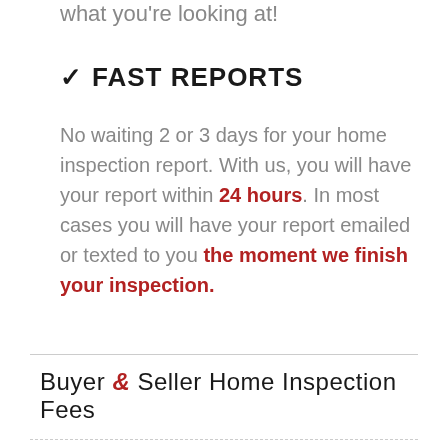what you're looking at!
✓ FAST REPORTS
No waiting 2 or 3 days for your home inspection report. With us, you will have your report within 24 hours. In most cases you will have your report emailed or texted to you the moment we finish your inspection.
Buyer & Seller Home Inspection Fees